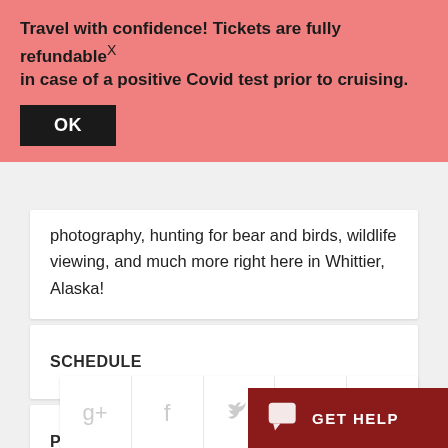Travel with confidence! Tickets are fully refundable in case of a positive Covid test prior to cruising.
photography, hunting for bear and birds, wildlife viewing, and much more right here in Whittier, Alaska!
SCHEDULE
PHOTOS
[Figure (screenshot): Social media sharing icons: Google+, Facebook, Twitter, LinkedIn, Pinterest]
GET HELP